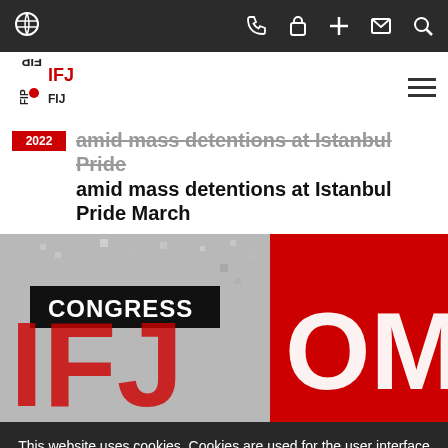IFJ navigation bar with icons: globe, phone, lock, plus, mail, search
[Figure (logo): IFJ logo with FIP text, red dot and IFJ/FIJ lettering in black and red]
amid mass detentions at Istanbul Pride March
[Figure (photo): IFJ Congress promotional image with red and gray design showing 'CONGRESS' text and partial 'OMA' letters]
This website uses cookies. Cookies are used for the user interface and web analytics and help to make this website better.